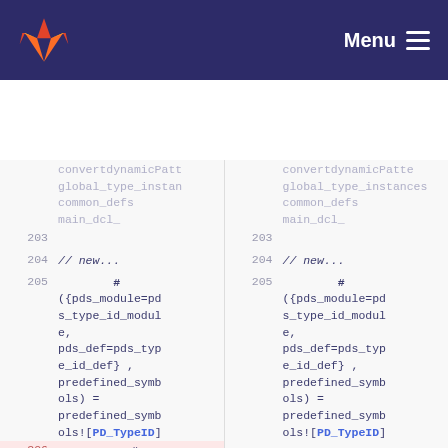Menu
[Figure (screenshot): Code diff view showing two panels side by side. Left panel shows old code, right panel shows new code. Lines 203-206 visible. Line 206 is a removed line (highlighted in red/pink) showing a deleted code block with '{td_name} = common_defs.[pds_type_id_mo...' content.]